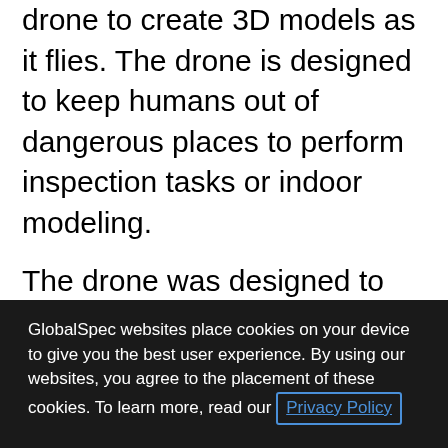drone to create 3D models as it flies. The drone is designed to keep humans out of dangerous places to perform inspection tasks or indoor modeling.
The drone was designed to provide companies with reliable inspection tools that include stabilization, modular payload and the ability to create 3D models in real time while in flight.
The Elios 3 is integrated with the Ouster OS0-32 lidar sensor that allows for the creation of
GlobalSpec websites place cookies on your device to give you the best user experience. By using our websites, you agree to the placement of these cookies. To learn more, read our Privacy Policy